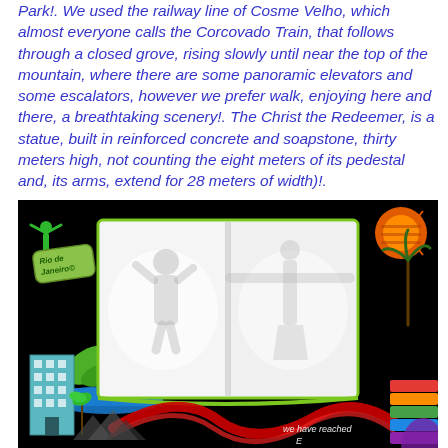Park!. We used the railway line of Cosme Velho, which almost everyone calls the Corcovado Train, that follows through a closed grove, rising slowly until near the top of the mountain, where there are some panoramic elevators and some escalators, however we prefer walk, enjoying here and there, a breathtaking scenery!. The Christ the Redeemer, is a statue, built in reinforced concrete and soapstone, thirty meters high, not counting the eight meters of its pedestal and, its arms, extend for 28 meters of width)!.
[Figure (photo): Scrapbook-style collage with black background showing an open book with photos inside (person waving on left page, Christ the Redeemer statue on right page), green Christ the Redeemer icon and Rio de Janeiro badge top-left, orange sun with palm tree top-right, building bottom-left, red ribbon curves bottom-center, colorful pages bottom-right, text 'we have reached' bottom-right]